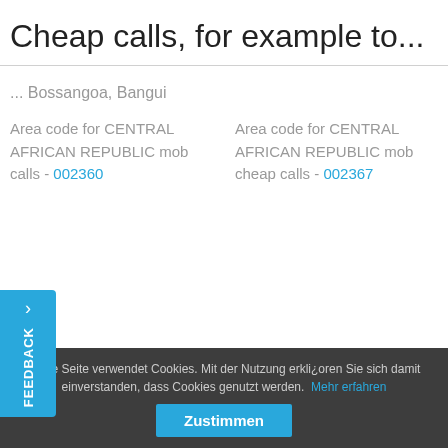Cheap calls, for example to...
... Bossangoa, Bangui
Area code for CENTRAL AFRICAN REPUBLIC mob calls - 002360
Area code for CENTRAL AFRICAN REPUBLIC mob cheap calls - 002367
Diese Seite verwendet Cookies. Mit der Nutzung erkli¿oren Sie sich damit einverstanden, dass Cookies genutzt werden. Mehr erfahren
Zustimmen